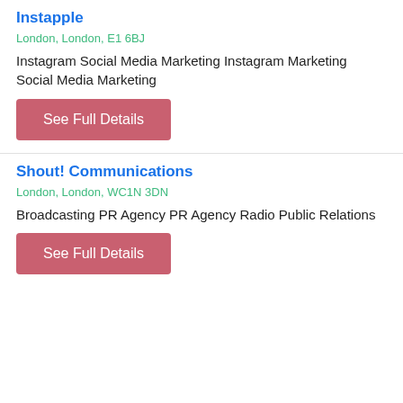Instapple
London, London, E1 6BJ
Instagram Social Media Marketing Instagram Marketing Social Media Marketing
See Full Details
Shout! Communications
London, London, WC1N 3DN
Broadcasting PR Agency PR Agency Radio Public Relations
See Full Details